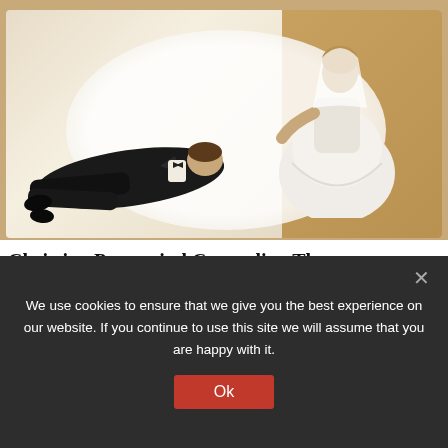[Figure (photo): Overhead view of a humorous wedding cake topper on a white plate: a bride in white dress dragging a groom in a black suit who is lying flat on the ground]
Christian Premarital Counseling That Promotes The Idea Of An Adversarial Marriage
[Figure (photo): Partial view of a second article image, mostly obscured by cookie banner]
We use cookies to ensure that we give you the best experience on our website. If you continue to use this site we will assume that you are happy with it.